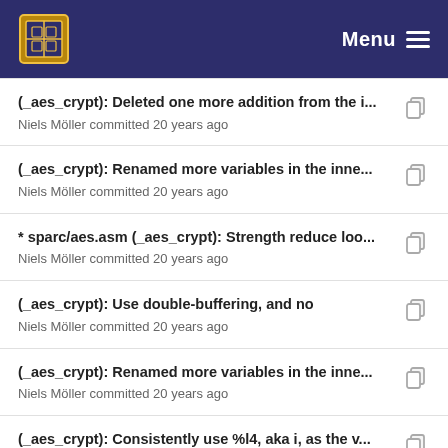Menu
(_aes_crypt): Deleted one more addition from the i...
Niels Möller committed 20 years ago
(_aes_crypt): Renamed more variables in the inne...
Niels Möller committed 20 years ago
* sparc/aes.asm (_aes_crypt): Strength reduce loo...
Niels Möller committed 20 years ago
(_aes_crypt): Use double-buffering, and no
Niels Möller committed 20 years ago
(_aes_crypt): Renamed more variables in the inne...
Niels Möller committed 20 years ago
(_aes_crypt): Consistently use %l4, aka i, as the v...
Niels Möller committed 20 years ago
(_aes_crypt): More symbolic names.
Niels Möller committed 20 years ago